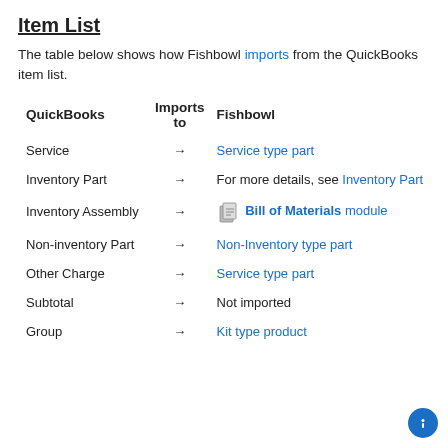Item List
The table below shows how Fishbowl imports from the QuickBooks item list.
| QuickBooks | Imports to | Fishbowl |
| --- | --- | --- |
| Service | → | Service type part |
| Inventory Part | → | For more details, see Inventory Part |
| Inventory Assembly | → | Bill of Materials module |
| Non-inventory Part | → | Non-Inventory type part |
| Other Charge | → | Service type part |
| Subtotal | → | Not imported |
| Group | → | Kit type product |